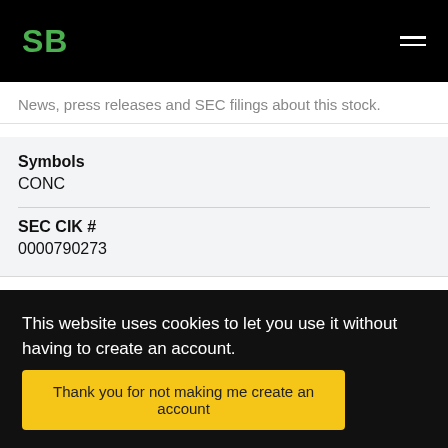SB
News, press releases and SEC filings about this stock.
Symbols
CONC
SEC CIK #
0000790273
article
This website uses cookies to let you use it without having to create an account.
Thank you for not making me create an account